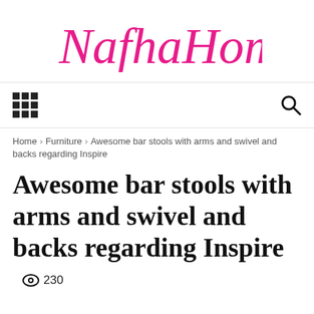[Figure (logo): NafhaHome script logo in hot pink/magenta cursive lettering]
Navigation bar with grid menu icon and search icon
Home › Furniture › Awesome bar stools with arms and swivel and backs regarding Inspire
Awesome bar stools with arms and swivel and backs regarding Inspire
👁 230